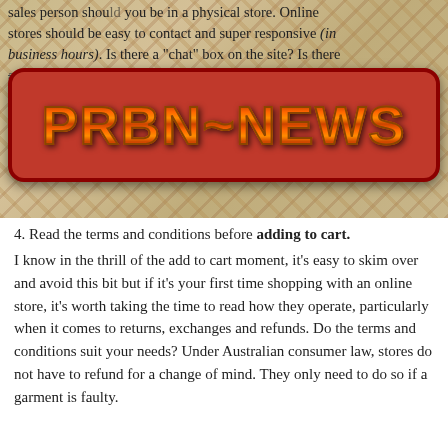sales person should you be in a physical store. Online stores should be easy to contact and super responsive (in business hours). Is there a "chat" box on the site? Is there a phone number? Does someone answer DMs quickly on social media? Are emails answered in a timely manner? Try any of these things before you buy for the first time and you'll quickly either gain trust – or get very scared – about placing your order.
[Figure (logo): PRBN~NEWS logo in large orange/brown textured letters on a red rounded rectangle banner]
4. Read the terms and conditions before adding to cart. I know in the thrill of the add to cart moment, it's easy to skim over and avoid this bit but if it's your first time shopping with an online store, it's worth taking the time to read how they operate, particularly when it comes to returns, exchanges and refunds. Do the terms and conditions suit your needs? Under Australian consumer law, stores do not have to refund for a change of mind. They only need to do so if a garment is faulty.